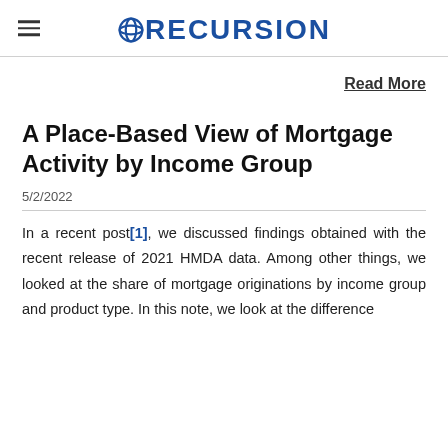RECURSION
Read More
A Place-Based View of Mortgage Activity by Income Group
5/2/2022
In a recent post[1], we discussed findings obtained with the recent release of 2021 HMDA data. Among other things, we looked at the share of mortgage originations by income group and product type. In this note, we look at the difference